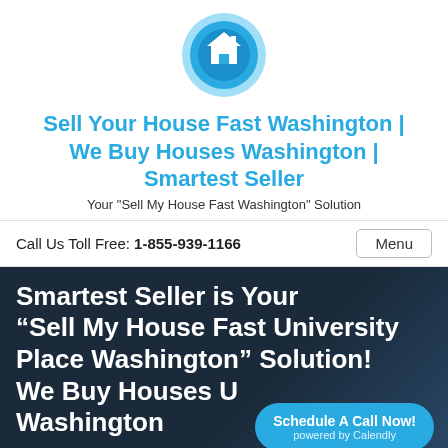[Figure (logo): Circular logo with blue concentric rings and a white house icon in the center]
Sell Your House Fast Washington | We Buy Houses Washington | Smartest Seller
Your "Sell My House Fast Washington" Solution
Call Us Toll Free: 1-855-939-1166
Menu
Smartest Seller is Your “Sell My House Fast University Place Washington” Solution! We Buy Houses University Place Washington